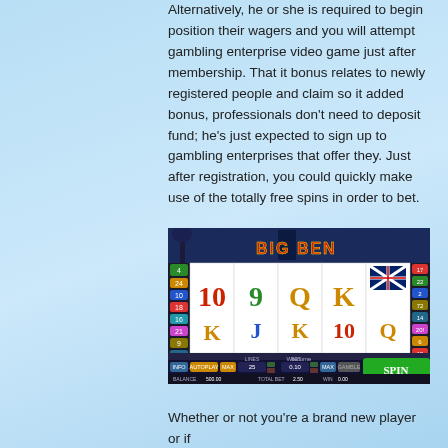Alternatively, he or she is required to begin position their wagers and you will attempt gambling enterprise video game just after membership. That it bonus relates to newly registered people and claim so it added bonus, professionals don't need to deposit fund; he's just expected to sign up to gambling enterprises that offer they. Just after registration, you could quickly make use of the totally free spins in order to bet.
[Figure (screenshot): Screenshot of the Big Ben slot machine game showing 5 reels with symbols including 10, 9, Q, K, UK flag, lantern, phone box, double decker bus, guardsman, Big Ben, K, J, K, 10, Q. Side panels show bet lines and values. Bottom panel shows INFO, AUTOPLAY, MAX, LINES 25, BET 0.10, MAX, GAMBLE buttons, SPIN button, BALANCE 500.00, TOTAL BET 2.50, WIN 0.00, Welcome message.]
Whether or not you're a brand new player or if